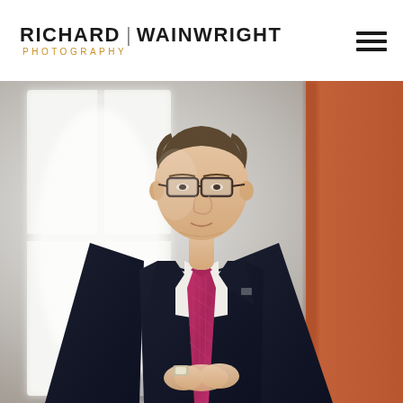RICHARD | WAINWRIGHT PHOTOGRAPHY
[Figure (photo): Professional corporate portrait of a man in a dark navy suit with a pink/magenta checked tie and white shirt, wearing glasses and a watch, hands clasped in front, leaning against an orange wall beside a large bright window with soft natural light]